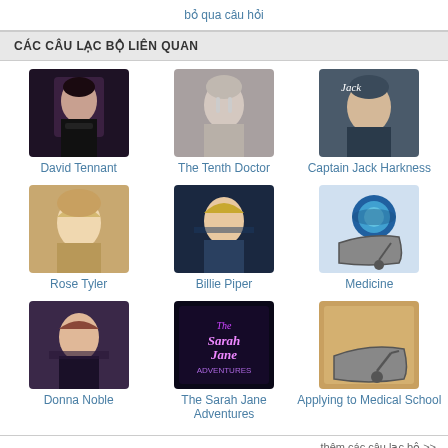bỏ qua câu hỏi
CÁC CÂU LẠC BỘ LIÊN QUAN
[Figure (infographic): Grid of 9 club thumbnails with names: David Tennant, The Tenth Doctor, Captain Jack Harkness, Rose Tyler, Billie Piper, Medicine, Donna Noble, The Sarah Jane Adventures, Applying to Medical School]
thêm các câu lạc bộ >>
[Figure (screenshot): Advertisement for Publishers Clearing House with WIN text]